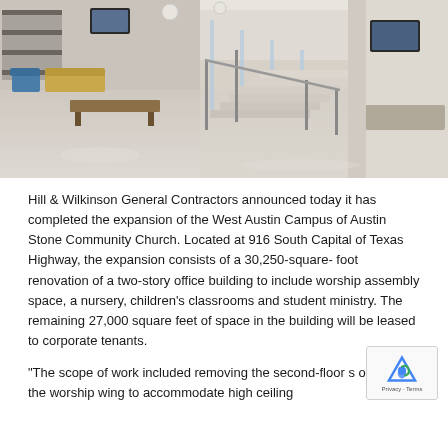[Figure (photo): Interior lobby of a modern building with polished concrete floors, a glass-railed staircase, seating area with blue and tan furniture, and open-plan space with TVs mounted on walls.]
Hill & Wilkinson General Contractors announced today it has completed the expansion of the West Austin Campus of Austin Stone Community Church. Located at 916 South Capital of Texas Highway, the expansion consists of a 30,250-square- foot renovation of a two-story office building to include worship assembly space, a nursery, children's classrooms and student ministry. The remaining 27,000 square feet of space in the building will be leased to corporate tenants.
“The scope of work included removing the second-floor s on-deck in the worship wing to accommodate high ceiling